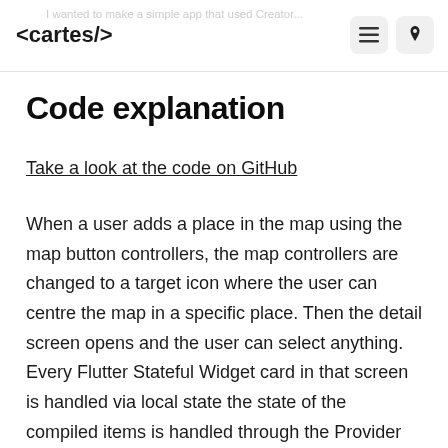<cartes/>
Code explanation
Take a look at the code on GitHub
When a user adds a place in the map using the map button controllers, the map controllers are changed to a target icon where the user can centre the map in a specific place. Then the detail screen opens and the user can select anything. Every Flutter Stateful Widget card in that screen is handled via local state the state of the compiled items is handled through the Provider State Management package. Once the user taps the